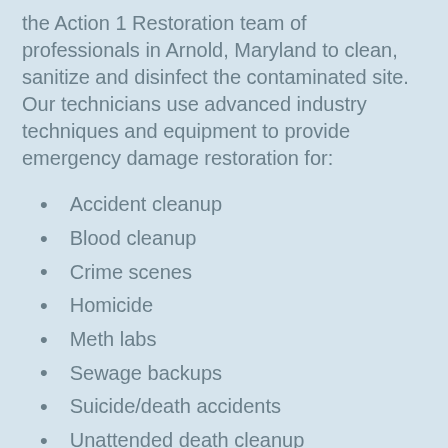the Action 1 Restoration team of professionals in Arnold, Maryland to clean, sanitize and disinfect the contaminated site. Our technicians use advanced industry techniques and equipment to provide emergency damage restoration for:
Accident cleanup
Blood cleanup
Crime scenes
Homicide
Meth labs
Sewage backups
Suicide/death accidents
Unattended death cleanup
Our team of experts are trained and equipped with the correct Personal Protective Equipment (PPE), usually hazmat suites in order to properly